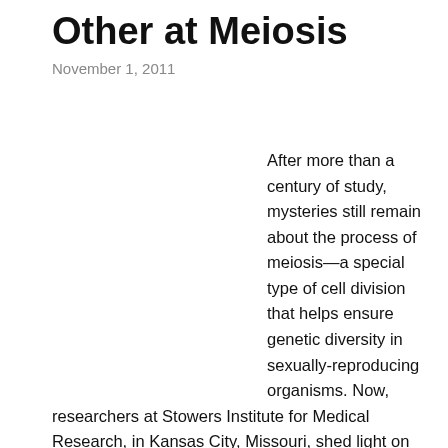Other at Meiosis
November 1, 2011
After more than a century of study, mysteries still remain about the process of meiosis—a special type of cell division that helps ensure genetic diversity in sexually-reproducing organisms. Now, researchers at Stowers Institute for Medical Research, in Kansas City, Missouri, shed light on an early and critical step in meiosis. The research, published online on October 27, 2011 in Current Biology, clarifies the role of key chromosomal regions called centromeres in the formation of a structure known as the synaptonemal complex (SC). "Understanding this and other mechanisms involved in meiosis is important